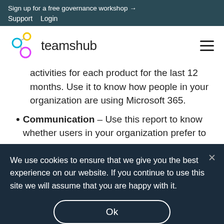Sign up for a free governance workshop →
Support   Login
teamshub
activities for each product for the last 12 months. Use it to know how people in your organization are using Microsoft 365.
Communication – Use this report to know whether users in your organization prefer to
We use cookies to ensure that we give you the best experience on our website. If you continue to use this site we will assume that you are happy with it.